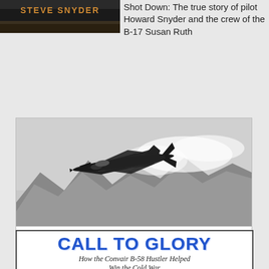[Figure (photo): Dark book cover with 'STEVE SNYDER' text at top, partially visible]
Shot Down: The true story of pilot Howard Snyder and the crew of the B-17 Susan Ruth
[Figure (photo): Book cover for HIGH FLIGHT showing a black and white photo of a military jet aircraft flying over mountains. Text reads: HIGH FLIGHT Aviation as a Teaching Tool for Finance, Strategy and American Exceptionalism By George A. Haloulakos, MBA, CFA]
[Figure (photo): Book cover for CALL TO GLORY showing 'How the Convair B-58 Hustler Helped Win the Cold War' with partial aircraft image at bottom]